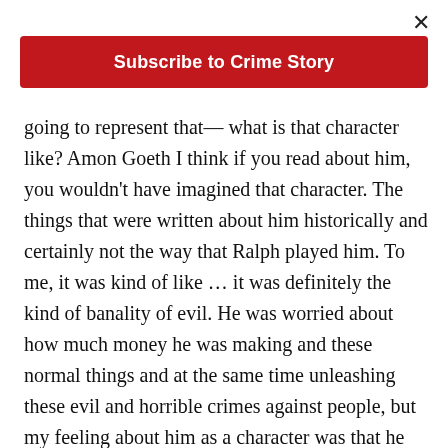×
[Figure (other): Red subscription button: Subscribe to Crime Story]
going to represent that— what is that character like? Amon Goeth I think if you read about him, you wouldn't have imagined that character. The things that were written about him historically and certainly not the way that Ralph played him. To me, it was kind of like … it was definitely the kind of banality of evil. He was worried about how much money he was making and these normal things and at the same time unleashing these evil and horrible crimes against people, but my feeling about him as a character was that he had to be interesting in his own right and not just the evil